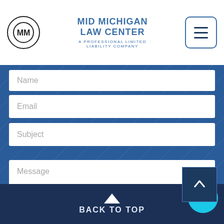[Figure (logo): Mid Michigan Law Center logo - circular emblem with MM initials and firm name]
MID MICHIGAN LAW CENTER
A PROFESSIONAL LIMITED LIABILITY COMPANY
[Figure (screenshot): Contact form with Name, Email, Subject, Message fields, Send button, and Back to Top footer on blue background]